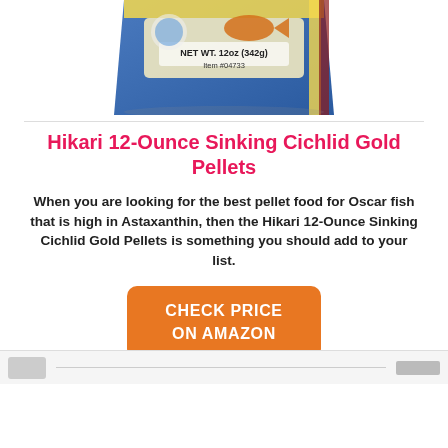[Figure (photo): Partial top view of Hikari Sinking Cichlid Gold Pellets product bag, blue packaging with fish image and NET WT. 12oz (342g), Item #04733 text visible]
Hikari 12-Ounce Sinking Cichlid Gold Pellets
When you are looking for the best pellet food for Oscar fish that is high in Astaxanthin, then the Hikari 12-Ounce Sinking Cichlid Gold Pellets is something you should add to your list.
CHECK PRICE ON AMAZON